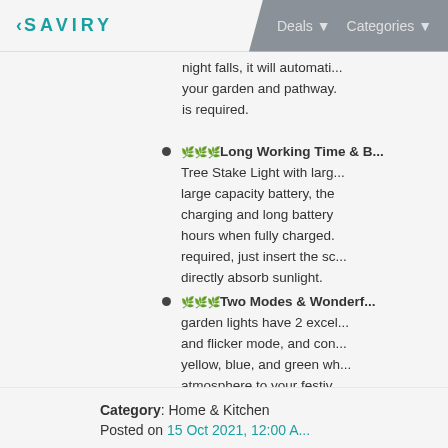< SAVIRY | Deals ▾ Categories ▾
night falls, it will automati... your garden and pathway. is required.
🌿🌿🌿Long Working Time & B... Tree Stake Light with large capacity battery, the charging and long battery hours when fully charged. required, just insert the sc... directly absorb sunlight.
🌿🌿🌿Two Modes & Wonderf... garden lights have 2 excel and flicker mode, and con... yellow, blue, and green wh... atmosphere to your festiv... flower beds, trees, fences
Category: Home & Kitchen
Posted on 15 Oct 2021, 12:00 A...